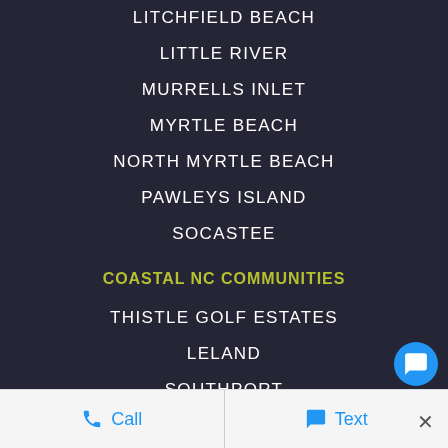LITCHFIELD BEACH
LITTLE RIVER
MURRELLS INLET
MYRTLE BEACH
NORTH MYRTLE BEACH
PAWLEYS ISLAND
SOCASTEE
COASTAL NC COMMUNITIES
THISTLE GOLF ESTATES
LELAND
SOUTHPORT
CHARLOTTE